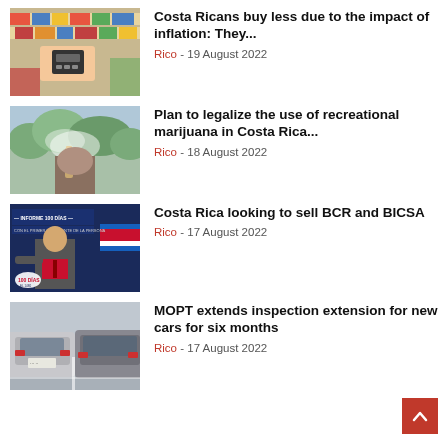[Figure (photo): Person using a payment terminal in a supermarket aisle with products on shelves]
Costa Ricans buy less due to the impact of inflation: They...
Rico - 19 August 2022
[Figure (photo): Person holding a marijuana joint outdoors with trees in background]
Plan to legalize the use of recreational marijuana in Costa Rica...
Rico - 18 August 2022
[Figure (photo): INFORME 100 DIAS banner with a man in a suit gesturing, 100 Dias text and logo visible]
Costa Rica looking to sell BCR and BICSA
Rico - 17 August 2022
[Figure (photo): Cars parked in a parking lot, rear view showing license plates]
MOPT extends inspection extension for new cars for six months
Rico - 17 August 2022